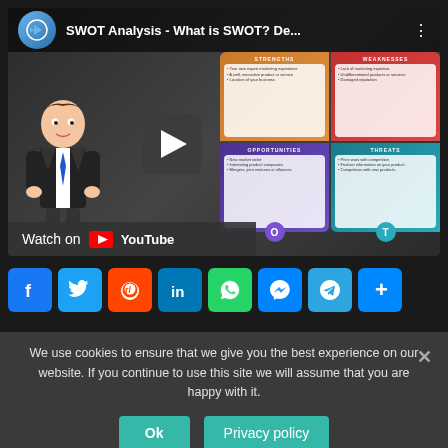[Figure (screenshot): YouTube video thumbnail showing a SWOT Analysis video titled 'SWOT Analysis - What is SWOT? De...' with a cartoon businessman character and a SWOT quadrant infographic. Includes a play button overlay and a 'Watch on YouTube' bar at the bottom left.]
[Figure (infographic): Social media share buttons: Facebook (f), Twitter (bird), Reddit (alien), LinkedIn (in), WhatsApp (phone), Messenger (lightning), Telegram (paper plane), Share (+)]
We use cookies to ensure that we give you the best experience on our website. If you continue to use this site we will assume that you are happy with it.
Ok
Privacy policy